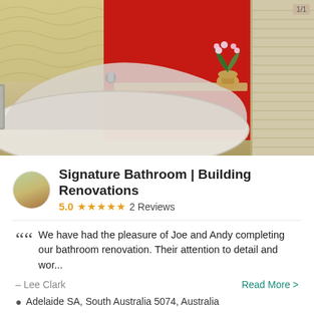[Figure (photo): Modern bathroom interior with a large freestanding white bathtub, beige tiled walls with wave patterns on the left, a bold red accent wall in the center-right, an orchid plant in a pot on a wooden shelf, and a window with blinds on the far right. The floor is beige tile.]
Signature Bathroom | Building Renovations
5.0 ★★★★★ 2 Reviews
We have had the pleasure of Joe and Andy completing our bathroom renovation. Their attention to detail and wor...
– Lee Clark
Read More >
Adelaide SA, South Australia 5074, Australia